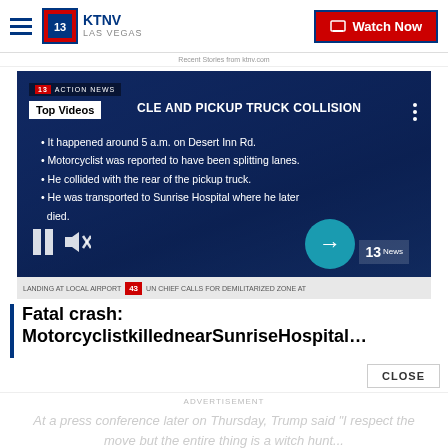KTNV LAS VEGAS | Watch Now
Recent Stories from ktnv.com
[Figure (screenshot): KTNV news video screenshot showing 'MOTORCYCLE AND PICKUP TRUCK COLLISION' with bullet points: It happened around 5 a.m. on Desert Inn Rd. / Motorcyclist was reported to have been splitting lanes. / He collided with the rear of the pickup truck. / He was transported to Sunrise Hospital where he later died. Video controls (pause, mute) visible at bottom left. Next arrow button at bottom right. Temperature 98° and time 5:01 visible. News ticker at bottom showing emergency landing and UN chief news.]
Fatal crash: MotorcyclistkillednearSunriseHospital…
CLOSE
ADVERTISEMENT
At a press conference later on Thursday, Trump said "I respect the move but the entire thing is a witch hunt...